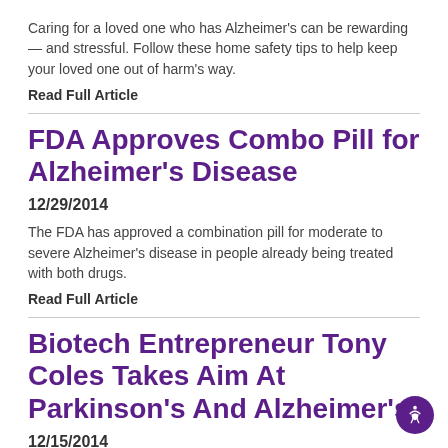Caring for a loved one who has Alzheimer's can be rewarding — and stressful. Follow these home safety tips to help keep your loved one out of harm's way.
Read Full Article
FDA Approves Combo Pill for Alzheimer's Disease
12/29/2014
The FDA has approved a combination pill for moderate to severe Alzheimer's disease in people already being treated with both drugs.
Read Full Article
Biotech Entrepreneur Tony Coles Takes Aim At Parkinson's And Alzheimer's
12/15/2014